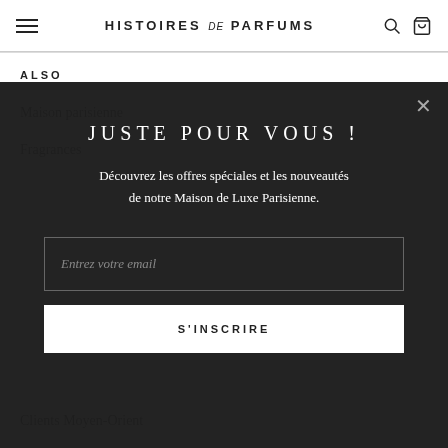HISTOIRES de PARFUMS
ALSO
Maison parisienne
Fragrances
JUSTE POUR VOUS !
Découvrez les offres spéciales et les nouveautés de notre Maison de Luxe Parisienne.
Entrez votre email
S'INSCRIRE
Clients Moyen-Orient